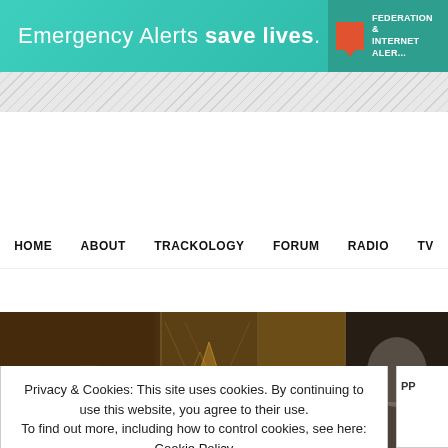[Figure (infographic): Teal banner advertisement: 'Emergency Alerts save lives.' with Federation Internet Alert logo on the right]
HOME   ABOUT   TRACKOLOGY   FORUM   RADIO   TV
[Figure (illustration): DJ Premier Blog hero banner with stylized GURU letters, DJ Premier logo, shield icon, 'a fansite by gimontalon', 'DJ PREMIER', 'DJPREMIERBLOG.COM', and 'RIP GURU' text on decorative brown/gold background]
Privacy & Cookies: This site uses cookies. By continuing to use this website, you agree to their use.
To find out more, including how to control cookies, see here: Cookie Policy
Close and accept